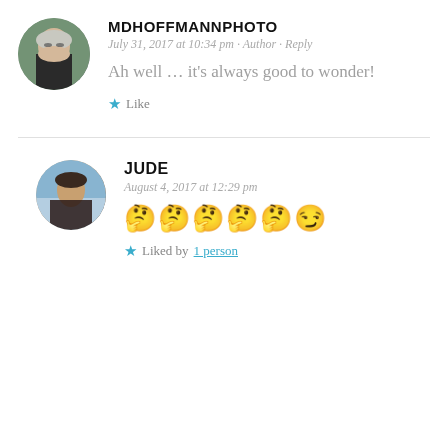[Figure (photo): Circular avatar photo of an older man with white/gray hair, wearing glasses and a dark jacket, outdoors with greenery in background]
MDHOFFMANNPHOTO
July 31, 2017 at 10:34 pm · Author · Reply
Ah well … it's always good to wonder!
★ Like
[Figure (photo): Circular avatar photo of a woman with dark hair at a beach, ocean and sky in background]
JUDE
August 4, 2017 at 12:29 pm
🤔🤔🤔🤔🤔😏
★ Liked by 1 person